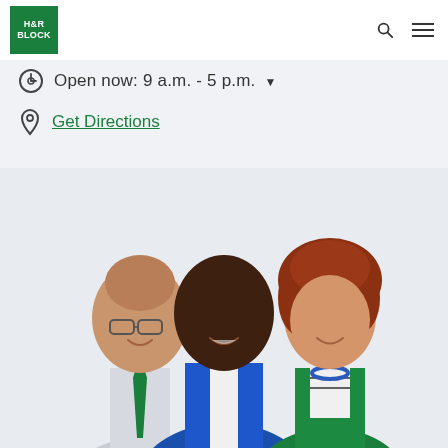H&R BLOCK
Open now: 9 a.m. - 5 p.m.
Get Directions
[Figure (photo): Three H&R Block employees smiling: a middle-aged man with glasses and green tie, a young Black man in blue blazer, and a woman with curly red hair in green cardigan and blue necklace]